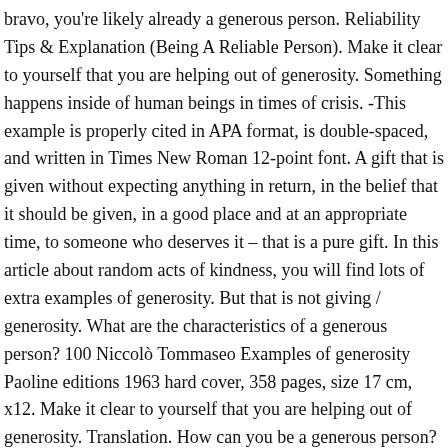bravo, you're likely already a generous person. Reliability Tips & Explanation (Being A Reliable Person). Make it clear to yourself that you are helping out of generosity. Something happens inside of human beings in times of crisis. -This example is properly cited in APA format, is double-spaced, and written in Times New Roman 12-point font. A gift that is given without expecting anything in return, in the belief that it should be given, in a good place and at an appropriate time, to someone who deserves it – that is a pure gift. In this article about random acts of kindness, you will find lots of extra examples of generosity. But that is not giving / generosity. What are the characteristics of a generous person? 100 Niccolò Tommaseo Examples of generosity Paoline editions 1963 hard cover, 358 pages, size 17 cm, x12. Make it clear to yourself that you are helping out of generosity. Translation. How can you be a generous person? Would you be able to produce enough to back up your claims of kindness? View cart. In this week's Bible Study, Tim looks at the biblical theme of Generosity. Consider